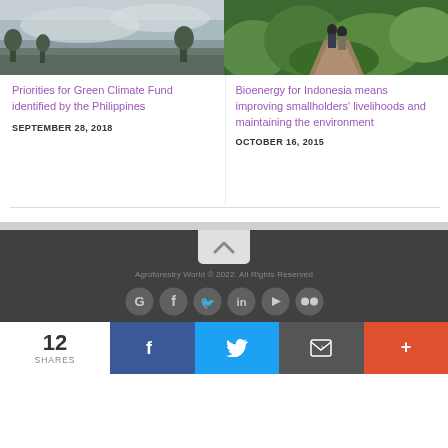[Figure (photo): Photo of cloudy sky over a landscape with trees]
[Figure (photo): Photo of people walking on a dirt path through green tropical vegetation]
Priorities for Green Climate Fund identified by the Philippines
SEPTEMBER 28, 2018
Bioenergy for Indonesia means improving smallholders' livelihoods and maintaining the environment
OCTOBER 16, 2015
Agroforestry World © 2022. All Rights Reserved
12 SHARES